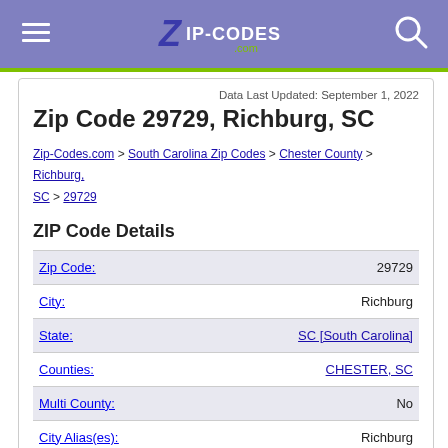Zip-Codes.com header with navigation menu and search icons
Data Last Updated: September 1, 2022
Zip Code 29729, Richburg, SC
Zip-Codes.com > South Carolina Zip Codes > Chester County > Richburg, SC > 29729
ZIP Code Details
| Field | Value |
| --- | --- |
| Zip Code: | 29729 |
| City: | Richburg |
| State: | SC [South Carolina] |
| Counties: | CHESTER, SC |
| Multi County: | No |
| City Alias(es): | Richburg
Lando |